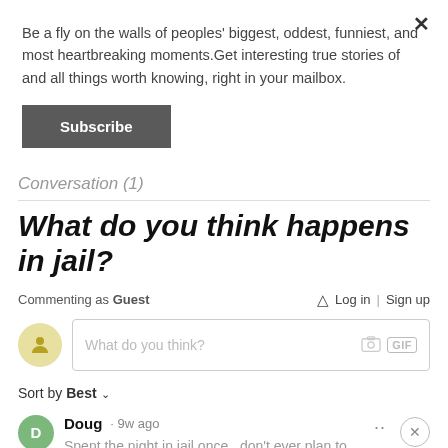Be a fly on the walls of peoples' biggest, oddest, funniest, and most heartbreaking moments.Get interesting true stories of and all things worth knowing, right in your mailbox.
Subscribe
Conversation (1)
What do you think happens in jail?
Commenting as Guest   Log in  Sign up
What do you think?
Sort by Best
Doug · 9w ago  Spent the night in jail once...don't ever plan to again. That was far more than enough.